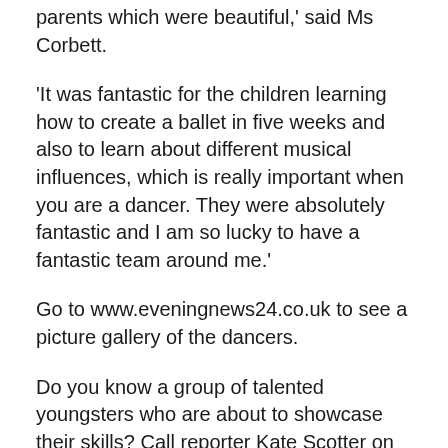parents which were beautiful,' said Ms Corbett.
'It was fantastic for the children learning how to create a ballet in five weeks and also to learn about different musical influences, which is really important when you are a dancer. They were absolutely fantastic and I am so lucky to have a fantastic team around me.'
Go to www.eveningnews24.co.uk to see a picture gallery of the dancers.
Do you know a group of talented youngsters who are about to showcase their skills? Call reporter Kate Scotter on 01603 772326 or email kate.scotter@archant.co.uk